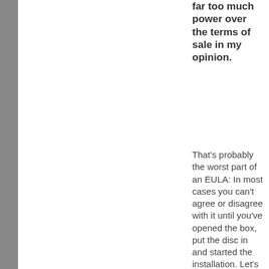far too much power over the terms of sale in my opinion.
That's probably the worst part of an EULA: In most cases you can't agree or disagree with it until you've opened the box, put the disc in and started the installation. Let's say you don't agree with the EULA and you don't want it anymore. Now that you've opened it, try to get the retailer to let you do a return. Chances are the best you'll do is get a store